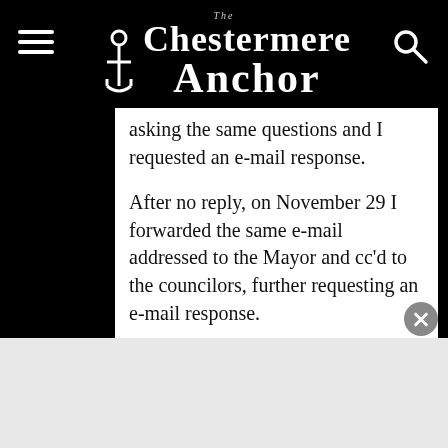The Chestermere Anchor
asking the same questions and I requested an e-mail response.
After no reply, on November 29  I forwarded the same e-mail addressed to the Mayor and cc'd to the councilors, further requesting an e-mail response.
After no reply, on December 08, I called the Mayor's direct line, reached voice mail only and left a message advising the Mayor of the above two e mails, and requested that he review them and then provide an e mail response.